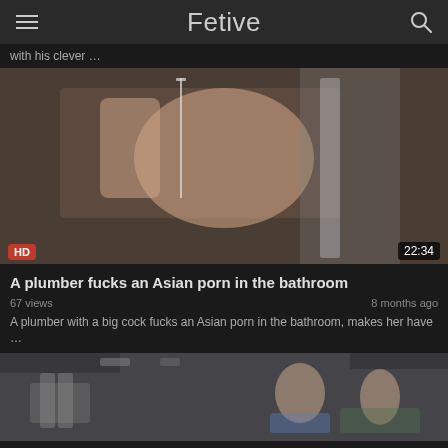Fetive
with his clever …
[Figure (screenshot): Video thumbnail showing bathroom scene, HD badge bottom-left, duration 22:34 bottom-right]
A plumber fucks an Asian porn in the bathroom
67 views    8 months ago
A plumber with a big cock fucks an Asian porn in the bathroom, makes her have …
[Figure (screenshot): Second video thumbnail showing bathroom/room scene with two people]